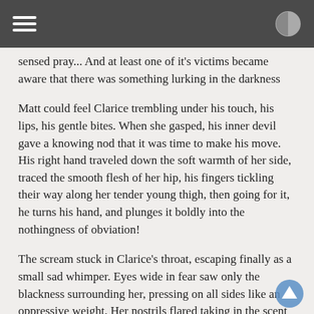sensed pray... And at least one of it's victims became aware that there was something lurking in the darkness
Matt could feel Clarice trembling under his touch, his lips, his gentle bites. When she gasped, his inner devil gave a knowing nod that it was time to make his move. His right hand traveled down the soft warmth of her side, traced the smooth flesh of her hip, his fingers tickling their way along her tender young thigh, then going for it, he turns his hand, and plunges it boldly into the nothingness of obviation!
The scream stuck in Clarice's throat, escaping finally as a small sad whimper. Eyes wide in fear saw only the blackness surrounding her, pressing on all sides like an oppressive weight. Her nostrils flared taking in the scent of blood and bile, she tasted that sharp coppery taste in her mouth. She felt the now empty sack of skin that had once been a man fall and drape over her arm like a fallen flag or deflated balloon. Another small sad whimper came when out of the darkness, Something stroked threw her hair, caressed her neck and shoulders like a lover, making her surrender to the sweet sharp pain as her own life's blood ran onto the cold